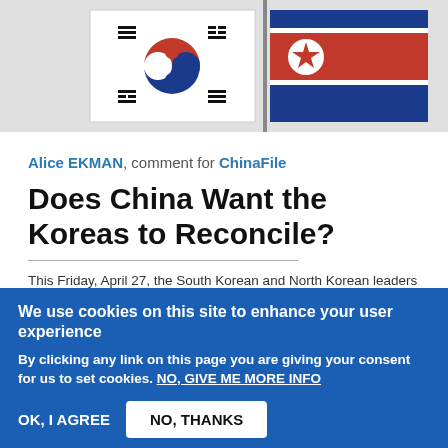[Figure (photo): Flags of South Korea and North Korea side by side on poles against a light gray background. South Korean flag (Taegukgi) on the left with white background and black trigrams, North Korean flag on the right with blue borders and red center panel.]
Alice EKMAN, comment for ChinaFile
Does China Want the Koreas to Reconcile?
This Friday, April 27, the South Korean and North Korean leaders will meet in the demilitarized zone dividing their estranged countries to discuss improving relations and possibly even formally ending the Korean War, which has continued in the form of an often tense and fragile armistice since the cessation of combat in 1953. This inter-Korean summit, the first since 2007, signifies closer ties
We use cookies on this site to enhance your user experience
By clicking any link on this page you are giving your consent for us to set cookies. NO, GIVE ME MORE INFO
OK, I AGREE
NO, THANKS